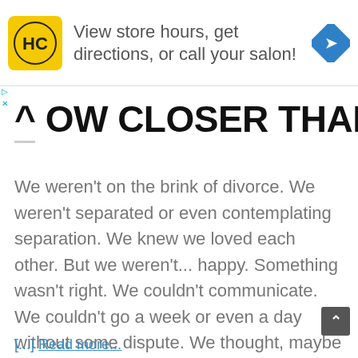[Figure (advertisement): Ad banner: HC salon logo (yellow/black), text 'View store hours, get directions, or call your salon!', blue navigation diamond icon on the right]
OW CLOSER THAN EVER.
We weren't on the brink of divorce. We weren't separated or even contemplating separation. We knew we loved each other. But we weren't... happy. Something wasn't right. We couldn't communicate. We couldn't go a week or even a day without some dispute. We thought, maybe this is what people mean when they say you just
[...] Read more...